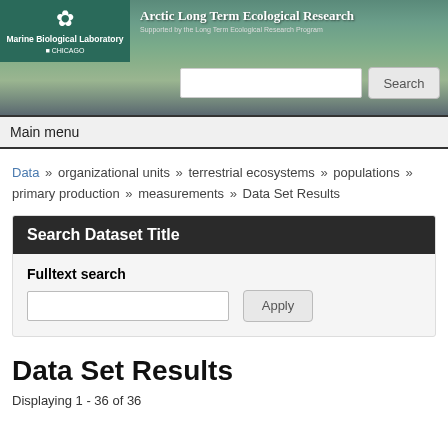[Figure (screenshot): Arctic LTER website banner with tundra landscape photo, Marine Biological Laboratory / University of Chicago logo, and Arctic Long Term Ecological Research title]
Main menu
Data » organizational units » terrestrial ecosystems » populations » primary production » measurements » Data Set Results
Search Dataset Title
Fulltext search
Data Set Results
Displaying 1 - 36 of 36